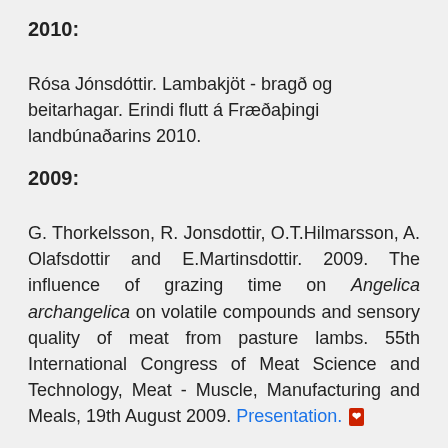2010:
Rósa Jónsdóttir. Lambakjöt - bragð og beitarhagar. Erindi flutt á Fræðaþingi landbúnaðarins 2010.
2009:
G. Thorkelsson, R. Jonsdottir, O.T.Hilmarsson, A. Olafsdottir and E.Martinsdottir. 2009. The influence of grazing time on Angelica archangelica on volatile compounds and sensory quality of meat from pasture lambs. 55th International Congress of Meat Science and Technology, Meat - Muscle, Manufacturing and Meals, 19th August 2009. Presentation. [PDF icon]